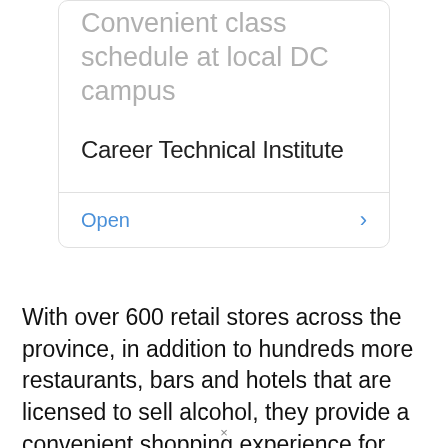Convenient class schedule at local DC campus
Career Technical Institute
Open
With over 600 retail stores across the province, in addition to hundreds more restaurants, bars and hotels that are licensed to sell alcohol, they provide a convenient shopping experience for